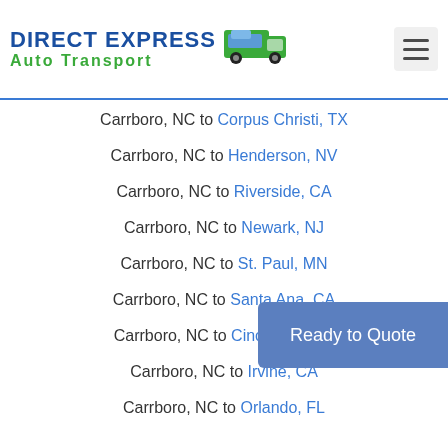DIRECT EXPRESS Auto Transport
Carrboro, NC to Corpus Christi, TX
Carrboro, NC to Henderson, NV
Carrboro, NC to Riverside, CA
Carrboro, NC to Newark, NJ
Carrboro, NC to St. Paul, MN
Carrboro, NC to Santa Ana, CA
Carrboro, NC to Cincinnati, OH
Carrboro, NC to Irvine, CA
Carrboro, NC to Orlando, FL